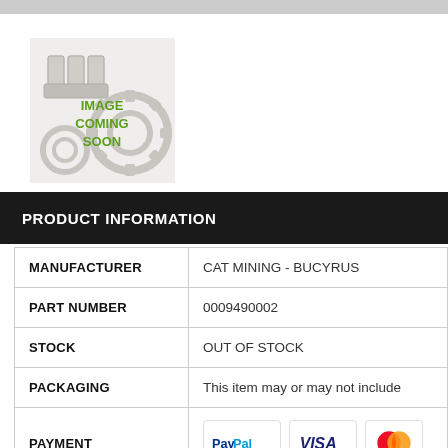[Figure (photo): Placeholder image with gears/engine parts in grayscale and green text 'IMAGE COMING SOON']
PRODUCT INFORMATION
|  |  |
| --- | --- |
| MANUFACTURER | CAT MINING - BUCYRUS |
| PART NUMBER | 0009490002 |
| STOCK | OUT OF STOCK |
| PACKAGING | This item may or may not include |
| PAYMENT | [PayPal] [VISA] [MasterCard] |